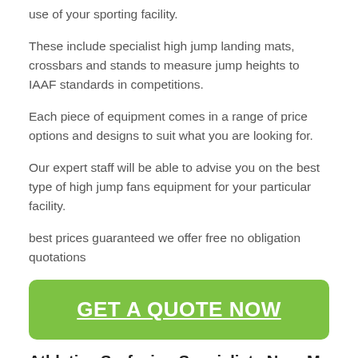use of your sporting facility.
These include specialist high jump landing mats, crossbars and stands to measure jump heights to IAAF standards in competitions.
Each piece of equipment comes in a range of price options and designs to suit what you are looking for.
Our expert staff will be able to advise you on the best type of high jump fans equipment for your particular facility.
best prices guaranteed we offer free no obligation quotations
[Figure (other): Green rounded button with white bold underlined text: GET A QUOTE NOW]
Athletics Surfacing Specialists Near Me
As athletics surfacing specialists in Ardgartan G83 7 we can also maintain high-jump fans to help keep the surface performing to its best.
These services could include drag brushing and redistribution of